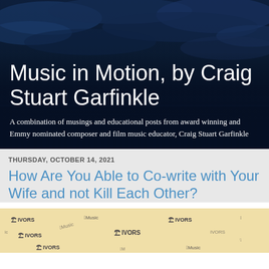[Figure (photo): Dark blue night sky with clouds over a beach/ocean scene, serving as hero background image]
Music in Motion, by Craig Stuart Garfinkle
A combination of musings and educational posts from award winning and Emmy nominated composer and film music educator, Craig Stuart Garfinkle
THURSDAY, OCTOBER 14, 2021
How Are You Able to Co-write with Your Wife and not Kill Each Other?
[Figure (photo): Cream/gold colored background with repeating IVORS and Apple Music logos/text pattern]